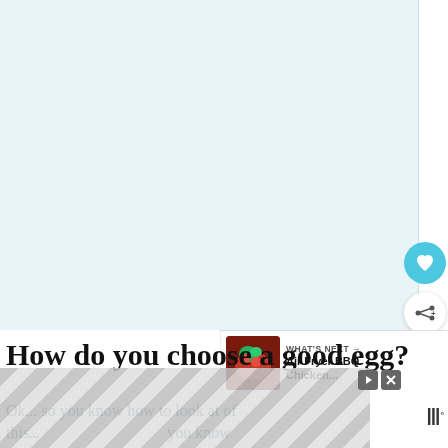[Figure (photo): Large light blue/white image area representing a food/cooking article hero image]
[Figure (infographic): Circular heart button (teal/cyan) and circular share button (white with shadow) on right sidebar]
[Figure (infographic): What's Next panel showing Air Fryer BBQ Chicken thumbnail and text]
How do you choose a good egg?
Ok, so you know how to look at of the...you know
[Figure (other): Advertisement overlay with hexagonal pattern, play/close controls, and Whisk logo]